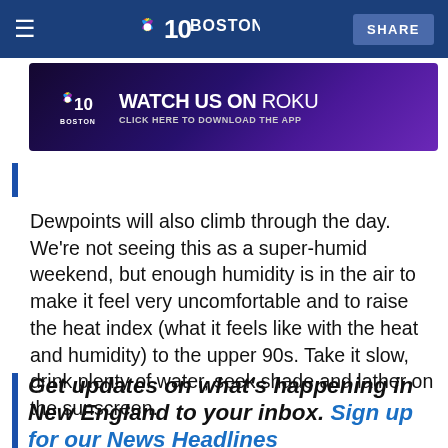NBC10 Boston — Stay informed about local news and weather. Download the NBC10 Boston app. SHARE
[Figure (screenshot): NBC10 Boston Roku advertisement banner: Watch Us on Roku – Click Here to Download the App]
Dewpoints will also climb through the day. We're not seeing this as a super-humid weekend, but enough humidity is in the air to make it feel very uncomfortable and to raise the heat index (what it feels like with the heat and humidity) to the upper 90s. Take it slow, drink plenty of water, seek shade and lather on the sunscreen.
Get updates on what's happening in New England to your inbox. Sign up for our News Headlines